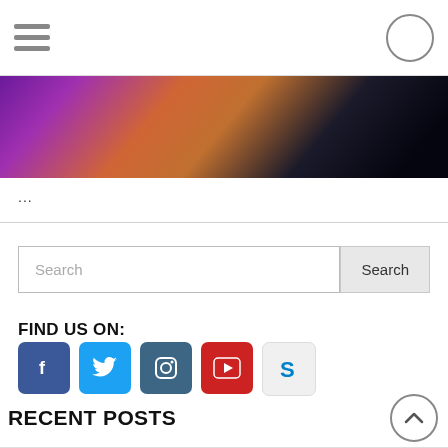[Figure (screenshot): Navigation bar with hamburger menu icon on left and circle button on right]
[Figure (photo): Hero image with dark purple/orange gradient tones, partially visible]
...
Search
FIND US ON:
[Figure (infographic): Social media icons: Facebook (blue), Twitter (light blue), Instagram (dark blue), YouTube (red), Skype (light gray)]
RECENT POSTS